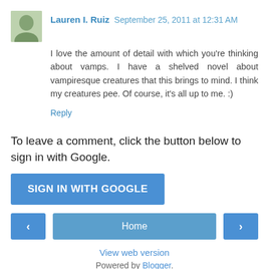Lauren I. Ruiz  September 25, 2011 at 12:31 AM
I love the amount of detail with which you're thinking about vamps. I have a shelved novel about vampiresque creatures that this brings to mind. I think my creatures pee. Of course, it's all up to me. :)
Reply
To leave a comment, click the button below to sign in with Google.
SIGN IN WITH GOOGLE
Home
View web version
Powered by Blogger.